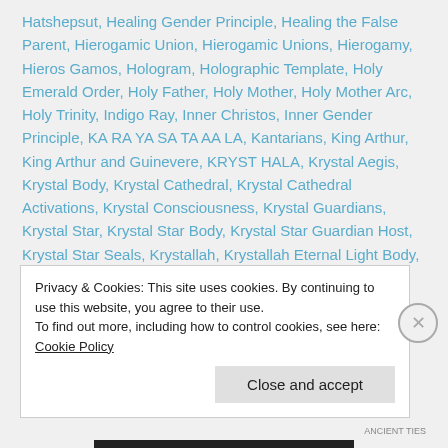Hatshepsut, Healing Gender Principle, Healing the False Parent, Hierogamic Union, Hierogamic Unions, Hierogamy, Hieros Gamos, Hologram, Holographic Template, Holy Emerald Order, Holy Father, Holy Mother, Holy Mother Arc, Holy Trinity, Indigo Ray, Inner Christos, Inner Gender Principle, KA RA YA SA TA AA LA, Kantarians, King Arthur, King Arthur and Guinevere, KRYST HALA, Krystal Aegis, Krystal Body, Krystal Cathedral, Krystal Cathedral Activations, Krystal Consciousness, Krystal Guardians, Krystal Star, Krystal Star Body, Krystal Star Guardian Host, Krystal Star Seals, Krystallah, Krystallah Eternal Light Body, Krystallah Light Body, Krystle Ray, Kundalini, Kundalini Activations, Kundalini...
Privacy & Cookies: This site uses cookies. By continuing to use this website, you agree to their use.
To find out more, including how to control cookies, see here: Cookie Policy